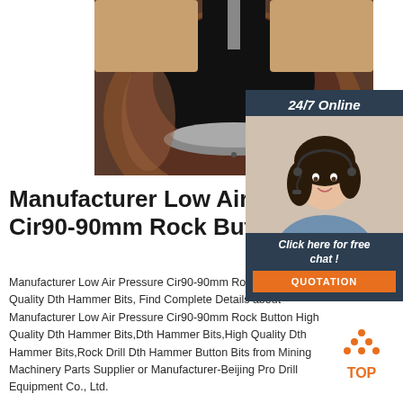[Figure (photo): Close-up photo of a rock button drill bit face (DTH hammer bit), showing the dark carbide buttons on a brown/rust-colored metal body, viewed from the front/top.]
[Figure (photo): 24/7 Online customer service chat widget with a smiling female agent wearing a headset, dark navy background, with 'Click here for free chat!' text and an orange QUOTATION button.]
Manufacturer Low Air Pressure Cir90-90mm Rock Button
Manufacturer Low Air Pressure Cir90-90mm Rock Button High Quality Dth Hammer Bits, Find Complete Details about Manufacturer Low Air Pressure Cir90-90mm Rock Button High Quality Dth Hammer Bits,Dth Hammer Bits,High Quality Dth Hammer Bits,Rock Drill Dth Hammer Button Bits from Mining Machinery Parts Supplier or Manufacturer-Beijing Pro Drill Equipment Co., Ltd.
[Figure (logo): Orange TOP badge/logo with dot pattern triangle shape above the word TOP in orange text.]